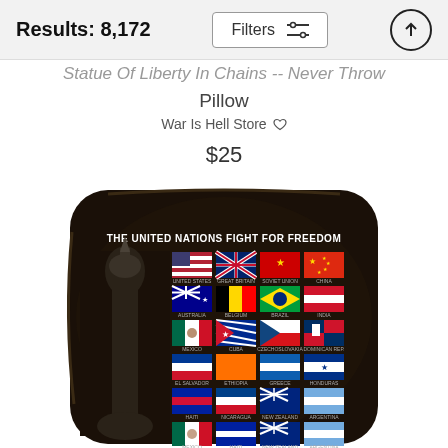Results: 8,172
Filters
Statue Of Liberty In Chains -- Never Throw Pillow
War Is Hell Store
$25
[Figure (photo): A throw pillow with a black background showing a vintage WWII poster design. The pillow features text 'THE UNITED NATIONS FIGHT FOR FREEDOM' with a grid of colorful national flags and a grayscale image of the Statue of Liberty torch arm on the left side.]